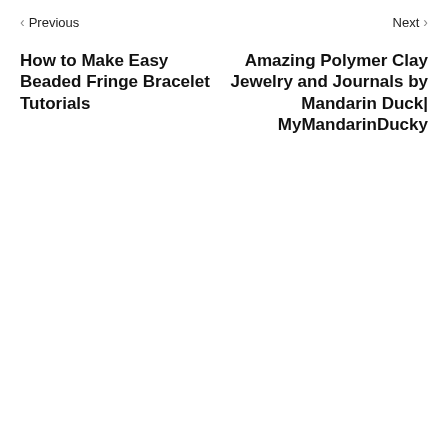< Previous    Next >
How to Make Easy Beaded Fringe Bracelet Tutorials
Amazing Polymer Clay Jewelry and Journals by Mandarin Duck| MyMandarinDucky